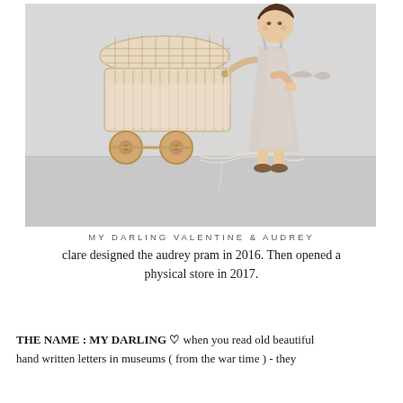[Figure (photo): A toddler in a light grey linen dress pushing a rattan/wicker doll pram with wooden wheels on a grey floor against a white wall.]
MY DARLING VALENTINE & AUDREY
clare designed the audrey pram in 2016. Then opened a physical store in 2017.
THE NAME : MY DARLING ♡ when you read old beautiful hand written letters in museums ( from the war time ) - they